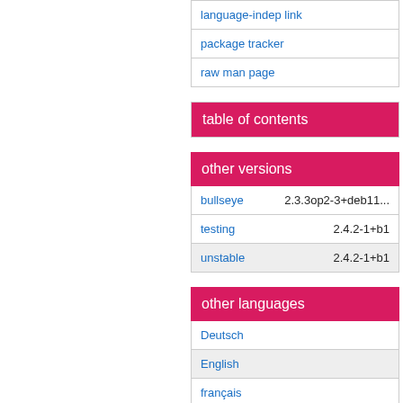| language-indep link |
| package tracker |
| raw man page |
table of contents
other versions
|  |  |
| --- | --- |
| bullseye | 2.3.3op2-3+deb11... |
| testing | 2.4.2-1+b1 |
| unstable | 2.4.2-1+b1 |
other languages
| Deutsch |
| English |
| français |
| 日本語 |